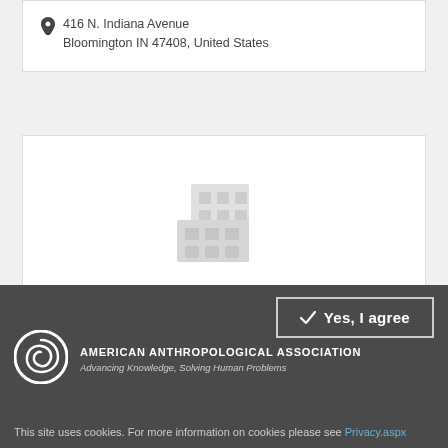416 N. Indiana Avenue
Bloomington IN 47408, United States
[Figure (illustration): Building/institution placeholder icon in light gray]
Michigan State University Museum
409 West Circle Drive
Yes, I agree
[Figure (logo): American Anthropological Association spiral logo]
AMERICAN ANTHROPOLOGICAL ASSOCIATION
Advancing Knowledge, Solving Human Problems
This site uses cookies. For more information on cookies please see Privacy.aspx